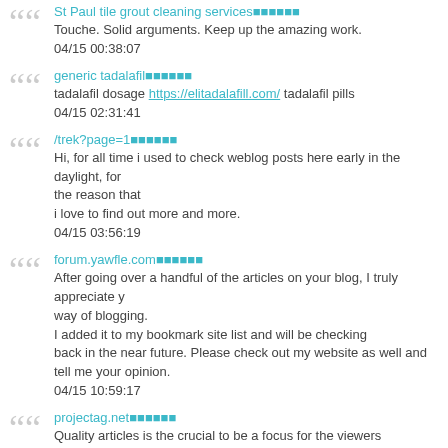St Paul tile grout cleaning services
Touche. Solid arguments. Keep up the amazing work.
04/15 00:38:07
generic tadalafil
tadalafil dosage https://elitadalafill.com/ tadalafil pills
04/15 02:31:41
/trek?page=1
Hi, for all time i used to check weblog posts here early in the daylight, for the reason that
i love to find out more and more.
04/15 03:56:19
forum.yawfle.com
After going over a handful of the articles on your blog, I truly appreciate your way of blogging.
I added it to my bookmark site list and will be checking back in the near future. Please check out my website as well and tell me your opinion.
04/15 10:59:17
projectag.net
Quality articles is the crucial to be a focus for the viewers to pay a quick visit the web site, that's what this web site is providing.
04/15 18:12:45
http://science-marketplace.org
Wonderful website. A lot of helpful information here.